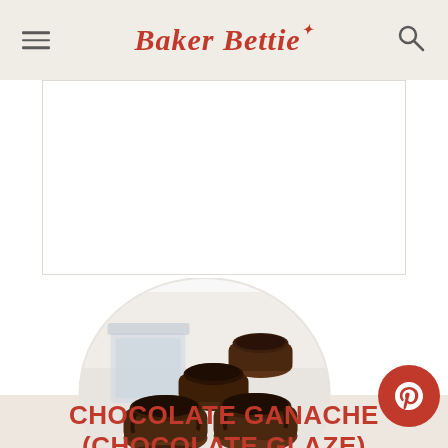Baker Bettie
[Figure (photo): Chocolate ganache glazed mini cupcakes in fluted cups arranged on a white surface, with a glass container in the background, displayed in a circular crop]
CHOCOLATE GANACHE (CHOCOLATE GLAZE)